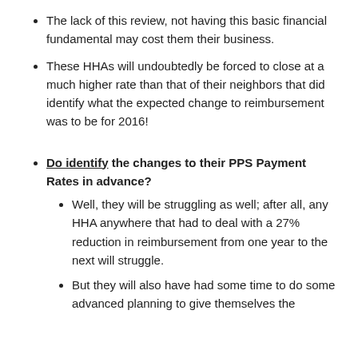The lack of this review, not having this basic financial fundamental may cost them their business.
These HHAs will undoubtedly be forced to close at a much higher rate than that of their neighbors that did identify what the expected change to reimbursement was to be for 2016!
Do identify the changes to their PPS Payment Rates in advance?
Well, they will be struggling as well; after all, any HHA anywhere that had to deal with a 27% reduction in reimbursement from one year to the next will struggle.
But they will also have had some time to do some advanced planning to give themselves the